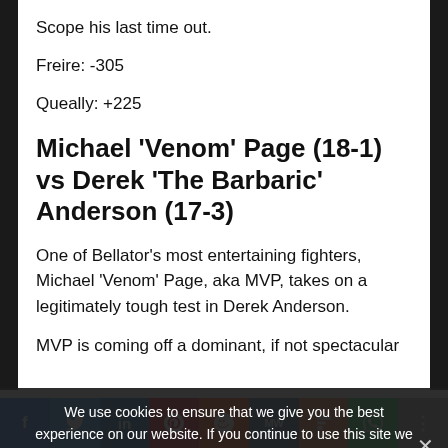Scope his last time out.
Freire: -305
Queally: +225
Michael 'Venom' Page (18-1) vs Derek 'The Barbaric' Anderson (17-3)
One of Bellator's most entertaining fighters, Michael 'Venom' Page, aka MVP, takes on a legitimately tough test in Derek Anderson.
MVP is coming off a dominant, if not spectacular
We use cookies to ensure that we give you the best experience on our website. If you continue to use this site we will assume that you are happy with it.